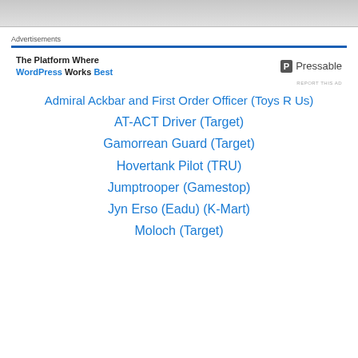[Figure (other): Gray banner image at top of page]
Advertisements
[Figure (other): Pressable advertisement banner: 'The Platform Where WordPress Works Best' with Pressable logo on the right]
Admiral Ackbar and First Order Officer (Toys R Us)
AT-ACT Driver (Target)
Gamorrean Guard (Target)
Hovertank Pilot (TRU)
Jumptrooper (Gamestop)
Jyn Erso (Eadu) (K-Mart)
Moloch (Target)